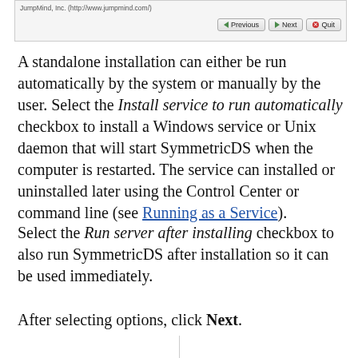[Figure (screenshot): Screenshot of installer dialog with Previous, Next, and Quit buttons. URL shown: JumpMind, Inc. (http://www.jumpmind.com/)]
A standalone installation can either be run automatically by the system or manually by the user. Select the Install service to run automatically checkbox to install a Windows service or Unix daemon that will start SymmetricDS when the computer is restarted. The service can installed or uninstalled later using the Control Center or command line (see Running as a Service).
Select the Run server after installing checkbox to also run SymmetricDS after installation so it can be used immediately.
After selecting options, click Next.